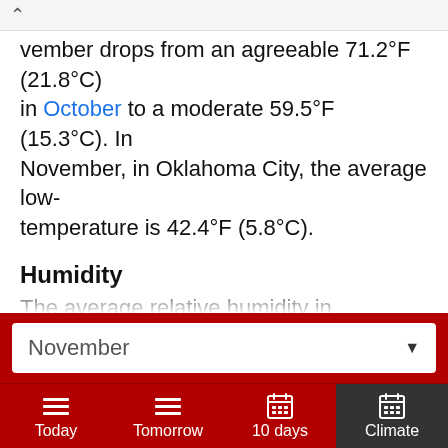…vember drops from an agreeable 71.2°F (21.8°C) in October to a moderate 59.5°F (15.3°C). In November, in Oklahoma City, the average low-temperature is 42.4°F (5.8°C).
Humidity
The average relative humidity in November is 65%.
Rainfall
In Oklahoma City, during November, the rain falls for 6.5 days and regularly aggregates up to 1.1" (28mm) of precipitation. In Oklahoma City, during the entire…
November ▼
Today | Tomorrow | 10 days | Climate